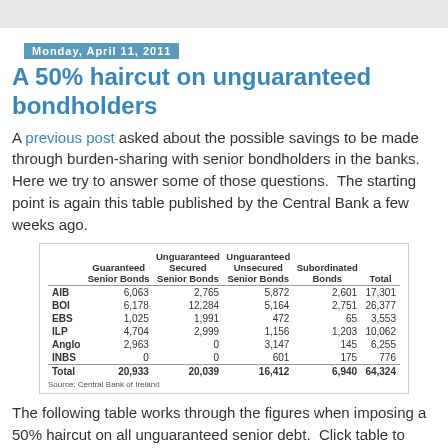Monday, April 11, 2011
A 50% haircut on unguaranteed bondholders
A previous post asked about the possible savings to be made through burden-sharing with senior bondholders in the banks.  Here we try to answer some of those questions.  The starting point is again this table published by the Central Bank a few weeks ago.
|  | Guaranteed Senior Bonds | Unguaranteed Secured Senior Bonds | Unguaranteed Unsecured Senior Bonds | Subordinated Bonds | Total |
| --- | --- | --- | --- | --- | --- |
| AIB | 6,063 | 2,765 | 5,872 | 2,601 | 17,301 |
| BOI | 6,178 | 12,284 | 5,164 | 2,751 | 26,377 |
| EBS | 1,025 | 1,991 | 472 | 65 | 3,553 |
| ILP | 4,704 | 2,999 | 1,156 | 1,203 | 10,062 |
| Anglo | 2,963 | 0 | 3,147 | 145 | 6,255 |
| INBS | 0 | 0 | 601 | 175 | 776 |
| Total | 20,933 | 20,039 | 16,412 | 6,940 | 64,324 |
Source: Central Bank of Ireland
The following table works through the figures when imposing a 50% haircut on all unguaranteed senior debt.  Click table to enlarge.